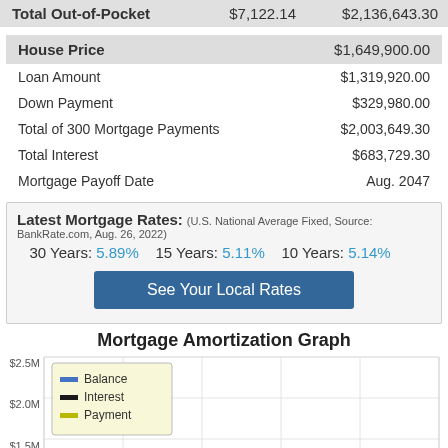|  |  |  |
| --- | --- | --- |
| Total Out-of-Pocket | $7,122.14 | $2,136,643.30 |
|  |  |
| --- | --- |
| House Price | $1,649,900.00 |
| Loan Amount | $1,319,920.00 |
| Down Payment | $329,980.00 |
| Total of 300 Mortgage Payments | $2,003,649.30 |
| Total Interest | $683,729.30 |
| Mortgage Payoff Date | Aug. 2047 |
Latest Mortgage Rates: (U.S. National Average Fixed, Source: BankRate.com, Aug. 26, 2022) 30 Years: 5.89%  15 Years: 5.11%  10 Years: 5.14%
See Your Local Rates
Mortgage Amortization Graph
[Figure (line-chart): Amortization graph showing Balance, Interest, and Payment over time. Y-axis shows $1.5M, $2.0M, $2.5M visible. Chart is partially shown.]